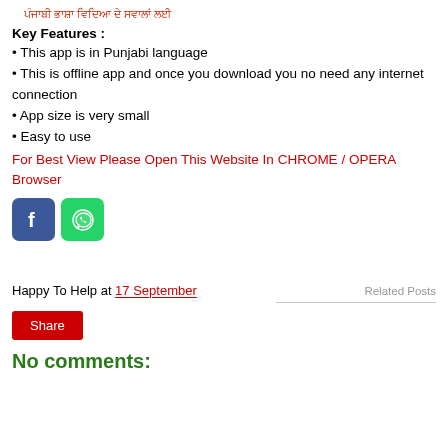ਪੰਜਾਬੀ ਭਾਸ਼ਾ ਵਿਦਿਆ ਦੇ ਸਵਾਲਾਂ ਲਈ
Key Features :
This app is in Punjabi language
This is offline app and once you download you no need any internet connection
App size is very small
Easy to use
For Best View Please Open This Website In CHROME / OPERA Browser
[Figure (other): Facebook and WhatsApp share icons]
Happy To Help at 17 September
Related Posts
Share
No comments: